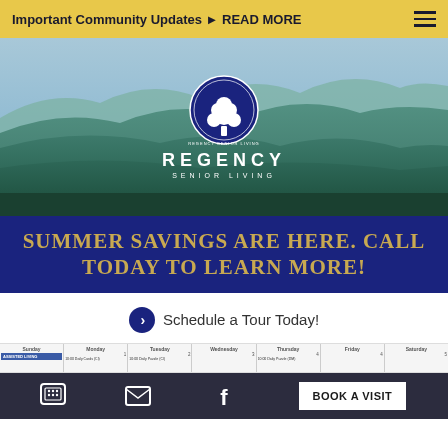Important Community Updates ► READ MORE
[Figure (logo): Regency Senior Living logo with tree emblem on mountain landscape background]
REGENCY SENIOR LIVING
SUMMER SAVINGS ARE HERE. CALL TODAY TO LEARN MORE!
Schedule a Tour Today!
[Figure (screenshot): Partial calendar strip showing days Sunday through Saturday with Assisted Living label and event entries]
BOOK A VISIT